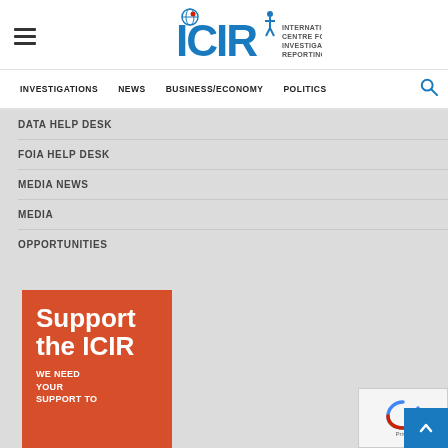ICIR - International Centre for Investigative Reporting
INVESTIGATIONS
NEWS
BUSINESS/ECONOMY
POLITICS
DATA HELP DESK
FOIA HELP DESK
MEDIA NEWS
MEDIA
OPPORTUNITIES
[Figure (illustration): Support the ICIR promotional banner with orange/red background and white text reading 'Support the ICIR - WE NEED YOUR SUPPORT TO...']